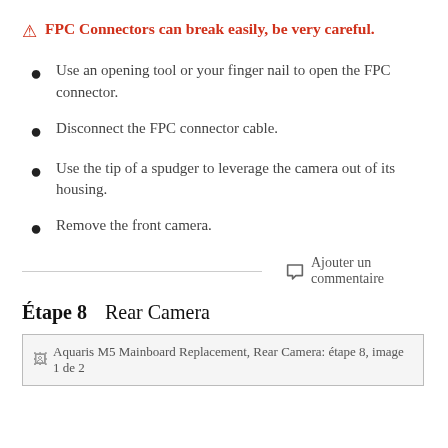⚠ FPC Connectors can break easily, be very careful.
Use an opening tool or your finger nail to open the FPC connector.
Disconnect the FPC connector cable.
Use the tip of a spudger to leverage the camera out of its housing.
Remove the front camera.
Ajouter un commentaire
Étape 8    Rear Camera
[Figure (photo): Aquaris M5 Mainboard Replacement, Rear Camera: étape 8, image 1 de 2]